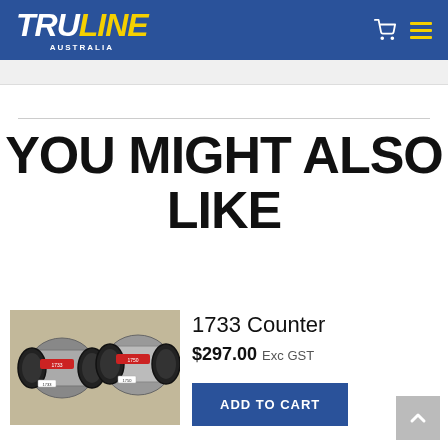TRULINE AUSTRALIA
YOU MIGHT ALSO LIKE
[Figure (photo): Two 1733 counter devices side by side, mechanical flow meters with black wheels and silver body, product numbers 1733 and 1750 visible]
1733 Counter
$297.00 Exc GST
ADD TO CART